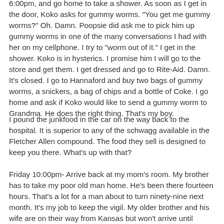6:00pm, and go home to take a shower. As soon as I get in the door, Koko asks for gummy worms. "You get me gummy worms?" Oh. Damn. Poopsie did ask me to pick him up gummy worms in one of the many conversations I had with her on my cellphone. I try to "worm out of it." I get in the shower. Koko is in hysterics. I promise him I will go to the store and get them. I get dressed and go to Rite-Aid. Damn. It's closed. I go to Hannaford and buy two bags of gummy worms, a snickers, a bag of chips and a bottle of Coke. I go home and ask if Koko would like to send a gummy worm to Grandma. He does the right thing. That's my boy.
I pound the junkfood in the car on the way back to the hospital. It is superior to any of the schwagg available in the Fletcher Allen compound. The food they sell is designed to keep you there. What's up with that?
Friday 10:00pm- Arrive back at my mom's room. My brother has to take my poor old man home. He's been there fourteen hours. That's a lot for a man about to turn ninety-nine next month. It's my job to keep the vigil. My older brother and his wife are on their way from Kansas but won't arrive until Saturday afternoon. Friday night I'm alone with